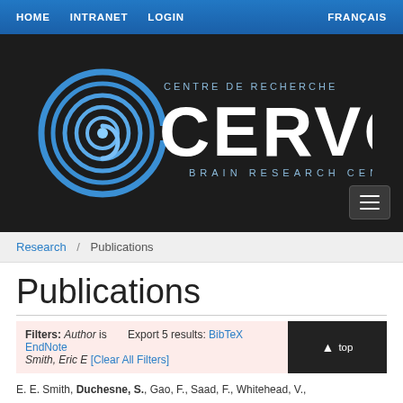HOME   INTRANET   LOGIN   FRANÇAIS
[Figure (logo): CERVO Brain Research Centre logo with circular brain maze icon and text 'CENTRE DE RECHERCHE CERVO BRAIN RESEARCH CENTRE' on dark background]
Research / Publications
Publications
Filters: Author is Smith, Eric E [Clear All Filters]   Export 5 results: BibTeX EndNote
E. E. Smith, Duchesne, S., Gao, F., Saad, F., Whitehead, V.,